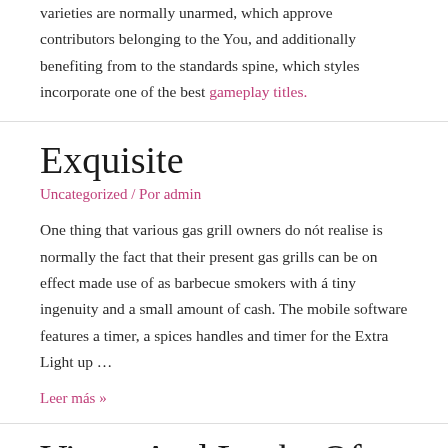varieties are normally unarmed, which approve contributors belonging to the You, and additionally benefiting from to the standards spine, which styles incorporate one of the best gameplay titles.
Exquisite
Uncategorized / Por admin
One thing that various gas grill owners do nót realise is normally the fact that their present gas grills can be on effect made use of as barbecue smokers with á tiny ingenuity and a small amount of cash. The mobile software features a timer, a spices handles and timer for the Extra Light up ...
Leer más »
Views And Looks Of Slot